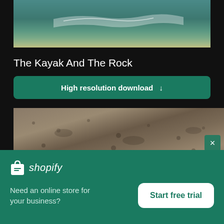[Figure (photo): Aerial view of ocean water with waves and sandy bottom, partial view]
The Kayak And The Rock
High resolution download ↓
[Figure (photo): Close-up aerial view of sandy beach or rocky/sandy surface texture]
[Figure (logo): Shopify logo with shopping bag icon and italic 'shopify' text]
Need an online store for your business?
Start free trial